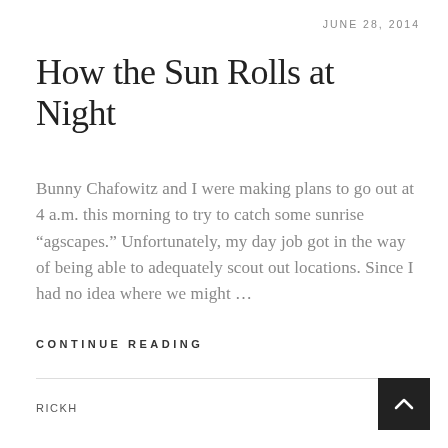JUNE 28, 2014
How the Sun Rolls at Night
Bunny Chafowitz and I were making plans to go out at 4 a.m. this morning to try to catch some sunrise “agscapes.” Unfortunately, my day job got in the way of being able to adequately scout out locations. Since I had no idea where we might …
CONTINUE READING
RICKH